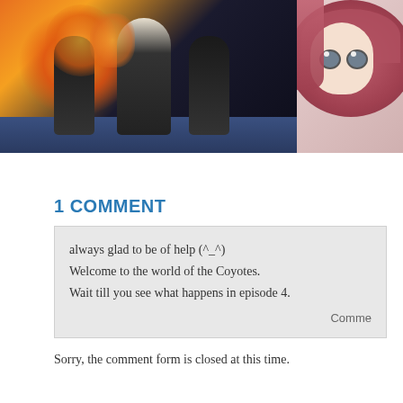[Figure (illustration): Two-panel image row: left panel shows anime-style action scene with dark figures against fire/explosion background; right panel shows close-up of anime character face with pink hair and wide eyes]
1 COMMENT
always glad to be of help (^_^)
Welcome to the world of the Coyotes.
Wait till you see what happens in episode 4.
Comme
Sorry, the comment form is closed at this time.